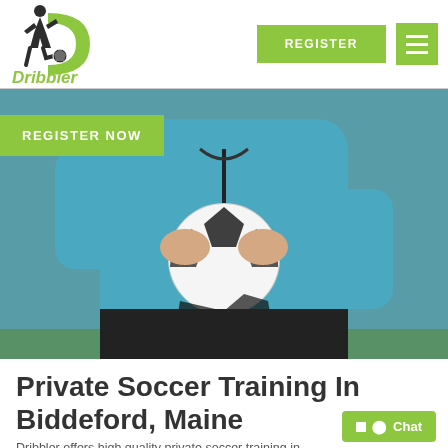[Figure (logo): Dribbler soccer training logo with player silhouette kicking ball and green D letter]
REGISTER
[Figure (other): Hamburger menu icon with three horizontal lines on green background]
[Figure (photo): Person in blue jacket holding a soccer ball outdoors on grass]
REGISTER NOW
Private Soccer Training In Biddeford, Maine
Chat
Dribbler offers high quality private soccer training in